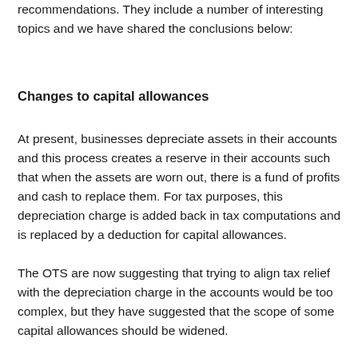recommendations. They include a number of interesting topics and we have shared the conclusions below:
Changes to capital allowances
At present, businesses depreciate assets in their accounts and this process creates a reserve in their accounts such that when the assets are worn out, there is a fund of profits and cash to replace them. For tax purposes, this depreciation charge is added back in tax computations and is replaced by a deduction for capital allowances.
The OTS are now suggesting that trying to align tax relief with the depreciation charge in the accounts would be too complex, but they have suggested that the scope of some capital allowances should be widened.